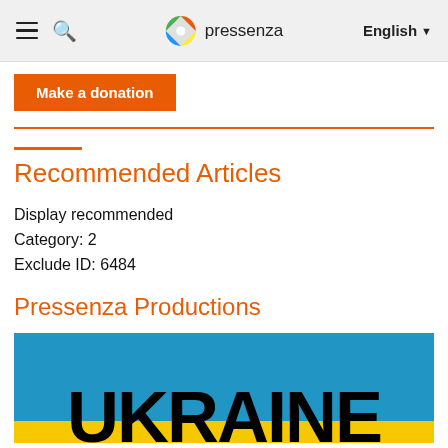pressenza | English
Make a donation
Recommended Articles
Display recommended
Category: 2
Exclude ID: 6484
Pressenza Productions
[Figure (photo): Ukraine banner image with blue background and large bold UKRAINE text in black, with yellow stripe at bottom]